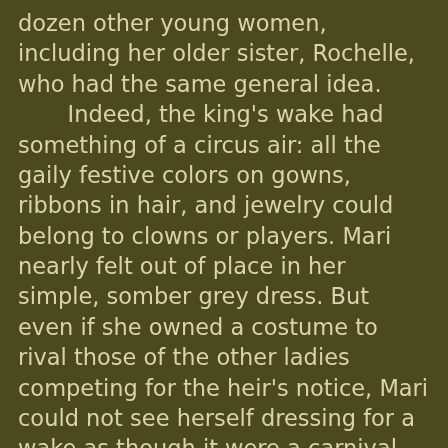dozen other young women, including her older sister, Rochelle, who had the same general idea.

Indeed, the king's wake had something of a circus air: all the gaily festive colors on gowns, ribbons in hair, and jewelry could belong to clowns or players. Mari nearly felt out of place in her simple, somber grey dress. But even if she owned a costume to rival those of the other ladies competing for the heir's notice, Mari could not see herself dressing for a wake as though it were a carnival.

She had found herself standing near the door all night, unable to fit in with the prince's unabashed suitors, both visually and ethically. But dressed as she was, she apparently blended into the tapestries, despite the strands of red hair escaping her black mourning coif.

From her position, she had watched Prince Sebastian slip away from the riot of what should be a thoughtful evening of reflection. She considered